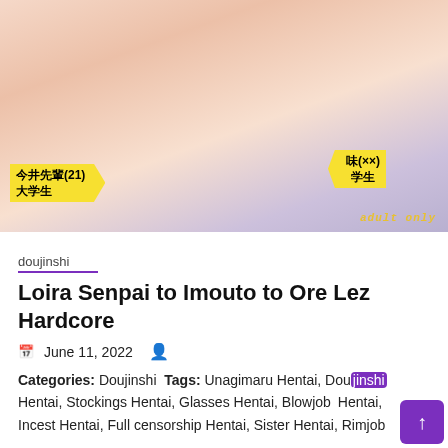[Figure (illustration): Anime/manga style adult illustration with Japanese text labels: 今井先輩(21)大学生 and 味(××)学生, with 'adult only' text at bottom right]
doujinshi
Loira Senpai to Imouto to Ore Lez Hardcore
June 11, 2022
Categories: Doujinshi Tags: Unagimaru Hentai, Doujinshi Hentai, Stockings Hentai, Glasses Hentai, Blowjob Hentai, Incest Hentai, Full censorship Hentai, Sister Hentai, Rimjob